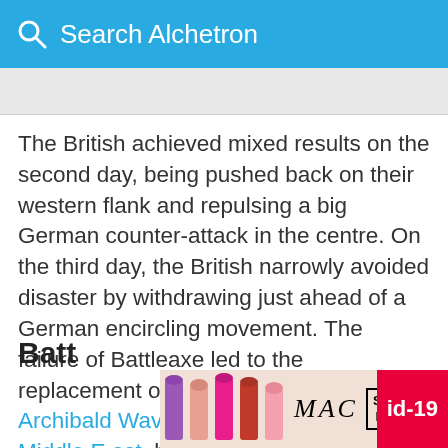Search Alchetron
The British achieved mixed results on the second day, being pushed back on their western flank and repulsing a big German counter-attack in the centre. On the third day, the British narrowly avoided disaster by withdrawing just ahead of a German encircling movement. The failure of Battleaxe led to the replacement of British General Sir Archibald Wavell, Commander-in-Chief Middle East, by Claude Auchinleck; Wavell took Auchinleck's position as Commander-in-Chief, India.
Batt
[Figure (screenshot): MAC cosmetics advertisement banner with lipstick products and SHOP NOW text]